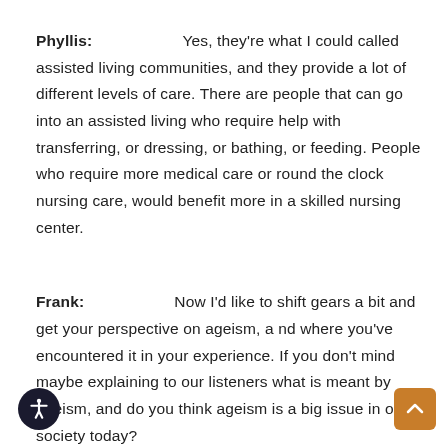Phyllis: Yes, they're what I could called assisted living communities, and they provide a lot of different levels of care. There are people that can go into an assisted living who require help with transferring, or dressing, or bathing, or feeding. People who require more medical care or round the clock nursing care, would benefit more in a skilled nursing center.
Frank: Now I'd like to shift gears a bit and get your perspective on ageism, a nd where you've encountered it in your experience. If you don't mind maybe explaining to our listeners what is meant by ageism, and do you think ageism is a big issue in our society today?